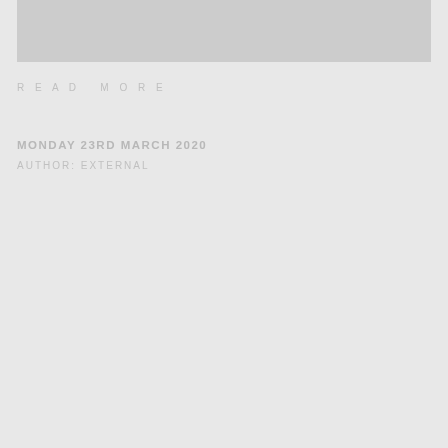[Figure (photo): Gray placeholder image area at top of page]
READ MORE
MONDAY 23RD MARCH 2020
AUTHOR: EXTERNAL